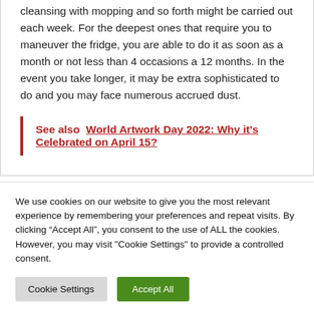cleansing with mopping and so forth might be carried out each week. For the deepest ones that require you to maneuver the fridge, you are able to do it as soon as a month or not less than 4 occasions a 12 months. In the event you take longer, it may be extra sophisticated to do and you may face numerous accrued dust.
See also  World Artwork Day 2022: Why it's Celebrated on April 15?
We use cookies on our website to give you the most relevant experience by remembering your preferences and repeat visits. By clicking “Accept All”, you consent to the use of ALL the cookies. However, you may visit "Cookie Settings" to provide a controlled consent.